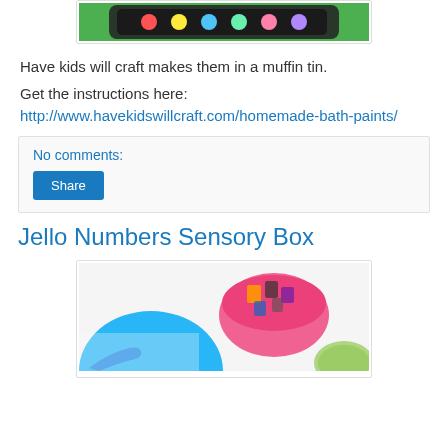[Figure (photo): Top portion of a photo showing colorful items in a muffin tin on a green background, partially visible at top of page]
Have kids will craft makes them in a muffin tin.
Get the instructions here:
http://www.havekidswillcraft.com/homemade-bath-paints/
No comments:
Share
Jello Numbers Sensory Box
[Figure (photo): Photo showing colorful jello shapes including a large blue dome, pink and orange bowl with letter/number pieces, and green textured item on a white surface with a blue spoon]